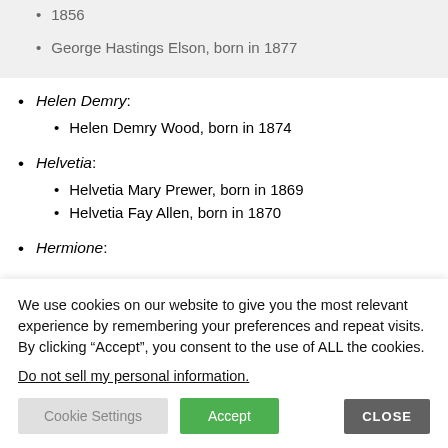1856
George Hastings Elson, born in 1877
Helen Demry:
Helen Demry Wood, born in 1874
Helvetia:
Helvetia Mary Prewer, born in 1869
Helvetia Fay Allen, born in 1870
Hermione:
We use cookies on our website to give you the most relevant experience by remembering your preferences and repeat visits. By clicking “Accept”, you consent to the use of ALL the cookies.
Do not sell my personal information.